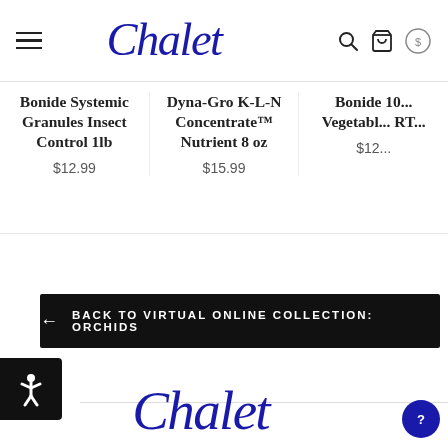[Figure (logo): Chalet script logo in blue at top header]
Bonide Systemic Granules Insect Control 1lb
$12.99
Dyna-Gro K-L-N Concentrate™ Nutrient 8 oz
$15.99
Bonide 10... Vegetabl... RT...
$12...
← BACK TO VIRTUAL ONLINE COLLECTION: ORCHIDS
[Figure (logo): Chalet script logo in blue in footer section]